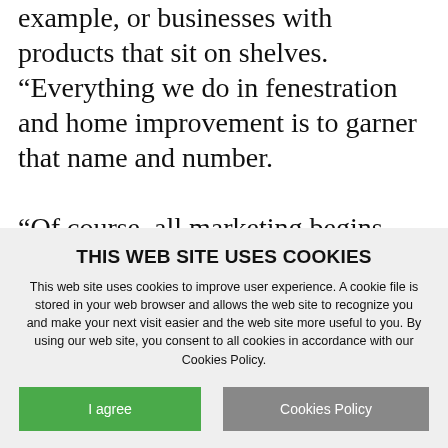example, or businesses with products that sit on shelves. “Everything we do in fenestration and home improvement is to garner that name and number.

“Of course, all marketing begins with making sure you’re doing the right work to attract your correct target,” she continues. “You really have to know who
THIS WEB SITE USES COOKIES
This web site uses cookies to improve user experience. A cookie file is stored in your web browser and allows the web site to recognize you and make your next visit easier and the web site more useful to you. By using our web site, you consent to all cookies in accordance with our Cookies Policy.